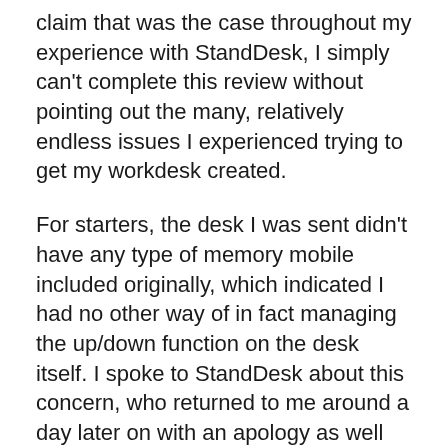claim that was the case throughout my experience with StandDesk, I simply can't complete this review without pointing out the many, relatively endless issues I experienced trying to get my workdesk created.
For starters, the desk I was sent didn't have any type of memory mobile included originally, which indicated I had no other way of in fact managing the up/down function on the desk itself. I spoke to StandDesk about this concern, who returned to me around a day later on with an apology as well as a pledge that a brand-new one would certainly be shipped shortly.